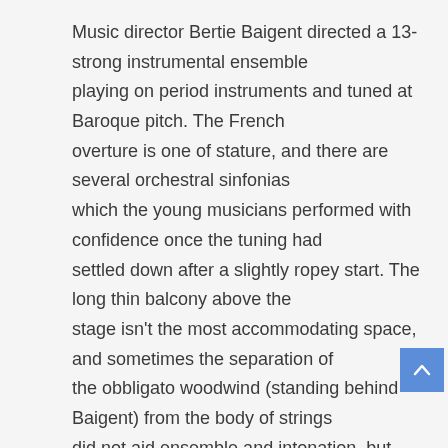Music director Bertie Baigent directed a 13-strong instrumental ensemble playing on period instruments and tuned at Baroque pitch. The French overture is one of stature, and there are several orchestral sinfonias which the young musicians performed with confidence once the tuning had settled down after a slightly ropey start. The long thin balcony above the stage isn't the most accommodating space, and sometimes the separation of the obbligato woodwind (standing behind Baigent) from the body of strings did not aid ensemble and intonation, but there was plenty of colour and energy.